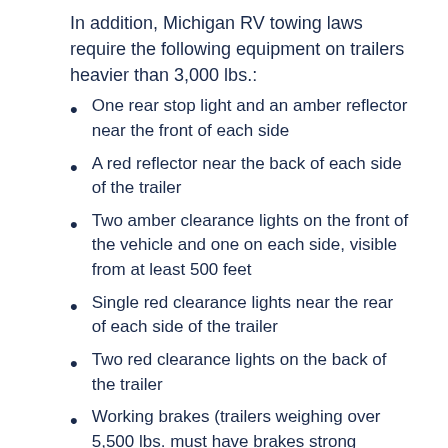In addition, Michigan RV towing laws require the following equipment on trailers heavier than 3,000 lbs.:
One rear stop light and an amber reflector near the front of each side
A red reflector near the back of each side of the trailer
Two amber clearance lights on the front of the vehicle and one on each side, visible from at least 500 feet
Single red clearance lights near the rear of each side of the trailer
Two red clearance lights on the back of the trailer
Working brakes (trailers weighing over 5,500 lbs. must have brakes strong enough to stop the trailer's movement and hold it in place)
RULES FOR